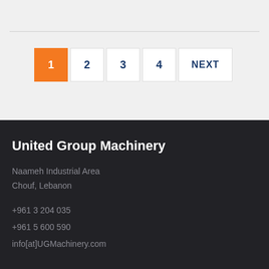[Figure (other): Pagination control with buttons: 1 (active/orange), 2, 3, 4, NEXT]
United Group Machinery
Naameh Industrial Area
Chouf, Lebanon
+961 3 204 035
+961 5 600 590
info[at]UGMachinery.com